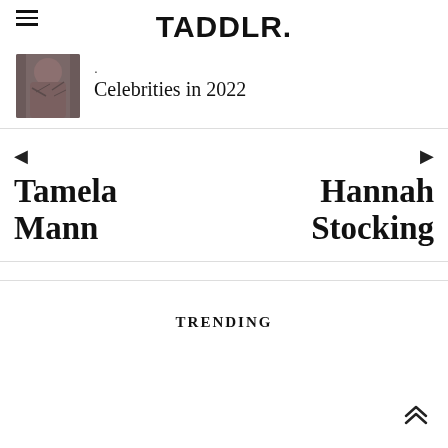TADDLR.
[Figure (photo): Tattooed person, torso visible, black and white photo]
Celebrities in 2022
◄ Tamela Mann
Hannah Stocking ►
TRENDING